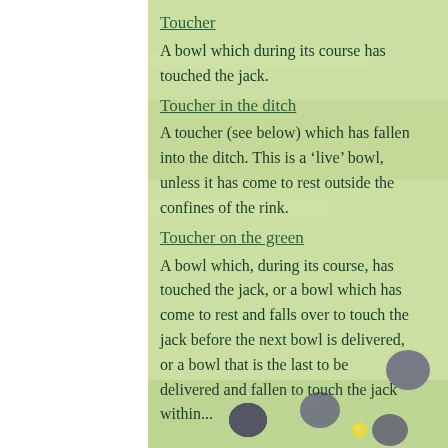Toucher
A bowl which during its course has touched the jack.
Toucher in the ditch
A toucher (see below) which has fallen into the ditch. This is a ‘live’ bowl, unless it has come to rest outside the confines of the rink.
Toucher on the green
A bowl which, during its course, has touched the jack, or a bowl which has come to rest and falls over to touch the jack before the next bowl is delivered, or a bowl that is the last to be delivered and fallen to touch the jack within...